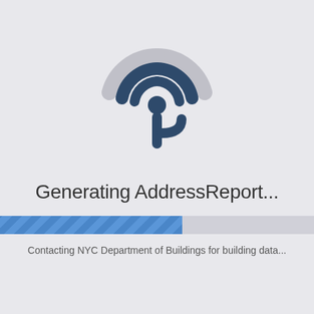[Figure (logo): Circular signal/location pin icon with concentric arcs in dark navy blue and light grey, resembling a map marker with radio waves]
Generating AddressReport...
[Figure (infographic): Horizontal progress bar approximately 58% filled with a diagonal stripe pattern in blue]
Contacting NYC Department of Buildings for building data...